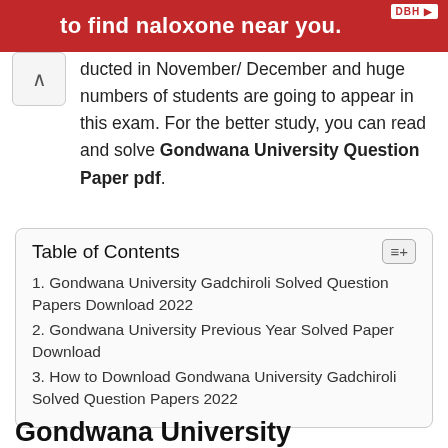[Figure (other): Red advertisement banner for finding naloxone near you, with DBH logo in the top right corner]
ducted in November/ December and huge numbers of students are going to appear in this exam. For the better study, you can read and solve Gondwana University Question Paper pdf.
| Table of Contents |
| --- |
| 1. Gondwana University Gadchiroli Solved Question Papers Download 2022 |
| 2. Gondwana University Previous Year Solved Paper Download |
| 3. How to Download Gondwana University Gadchiroli Solved Question Papers 2022 |
Gondwana University